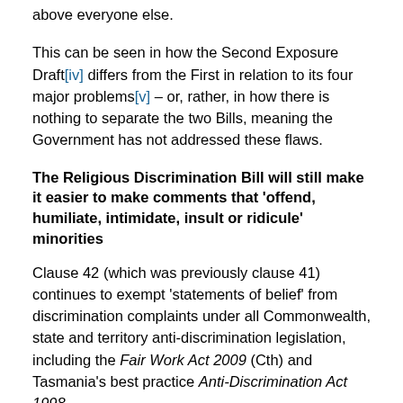above everyone else.
This can be seen in how the Second Exposure Draft[iv] differs from the First in relation to its four major problems[v] – or, rather, in how there is nothing to separate the two Bills, meaning the Government has not addressed these flaws.
The Religious Discrimination Bill will still make it easier to make comments that 'offend, humiliate, intimidate, insult or ridicule' minorities
Clause 42 (which was previously clause 41) continues to exempt 'statements of belief' from discrimination complaints under all Commonwealth, state and territory anti-discrimination legislation, including the Fair Work Act 2009 (Cth) and Tasmania's best practice Anti-Discrimination Act 1998.